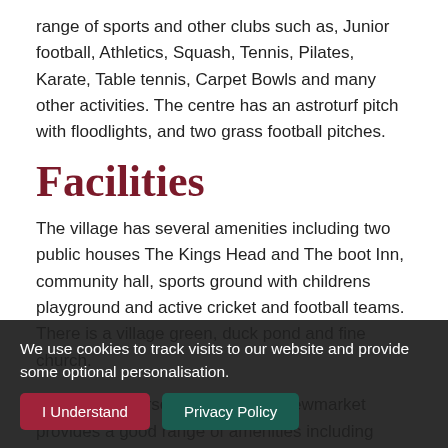range of sports and other clubs such as, Junior football, Athletics, Squash, Tennis, Pilates, Karate, Table tennis, Carpet Bowls and many other activities. The centre has an astroturf pitch with floodlights, and two grass football pitches.
Facilities
The village has several amenities including two public houses The Kings Head and The boot Inn, community hall, sports ground with childrens playground and active cricket and football teams. There is a village green, duck pond and fine church.
The nearby horseracing town of Newmarket provides a good range of amenities including schools, shops, supermarkets, hotels, restaurants and leisure facilities, including health clubs, a swimming pool and... racehorses and... with quality horse com...
We use cookies to track visits to our website and provide some optional personalisation.